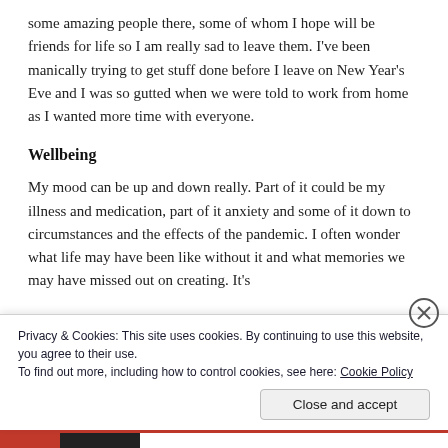some amazing people there, some of whom I hope will be friends for life so I am really sad to leave them. I've been manically trying to get stuff done before I leave on New Year's Eve and I was so gutted when we were told to work from home as I wanted more time with everyone.
Wellbeing
My mood can be up and down really. Part of it could be my illness and medication, part of it anxiety and some of it down to circumstances and the effects of the pandemic. I often wonder what life may have been like without it and what memories we may have missed out on creating. It's
Privacy & Cookies: This site uses cookies. By continuing to use this website, you agree to their use.
To find out more, including how to control cookies, see here: Cookie Policy
Close and accept